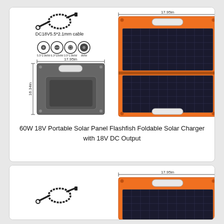[Figure (engineering-diagram): Technical diagram of a 60W 18V foldable solar panel showing: DC18V5.5*2.1mm cable accessory with 4 connector types (5.5*2.9MM, 6.3*10MM, 3.5*1.8MM, 8MM), a folded/closed view of the panel with dimensions 17.95in width x 16.34in height, and an open panel view in orange with dimensions 17.95in width x 32.76in height showing two solar cell panels.]
60W 18V Portable Solar Panel Flashfish Foldable Solar Charger with 18V DC Output
[Figure (engineering-diagram): Partial view of a second similar solar panel product diagram, showing the top portion with 17.95in width dimension and an orange solar panel beginning to appear at the bottom.]